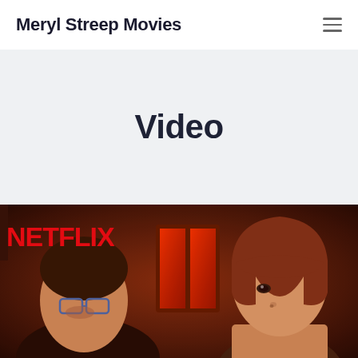Meryl Streep Movies
Video
[Figure (photo): A Netflix movie still showing two actors, one with glasses and one with a bob haircut, lit with red/orange tones. The NETFLIX logo is visible in the top-left corner of the image.]